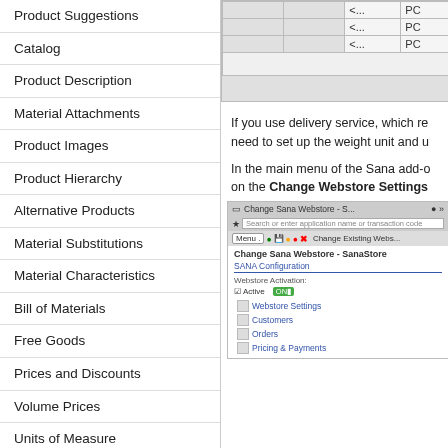Product Suggestions
Catalog
Product Description
Material Attachments
Product Images
Product Hierarchy
Alternative Products
Material Substitutions
Material Characteristics
Bill of Materials
Free Goods
Prices and Discounts
Volume Prices
Units of Measure
Material Weight and Dimensions
Inventory
Material Quantity
[Figure (screenshot): SAP table screenshot showing rows with <... and PC columns]
If you use delivery service, which re need to set up the weight unit and u
In the main menu of the Sana add-o on the Change Webstore Settings
[Figure (screenshot): SAP Change Sana Webstore screen showing SANA Configuration with Webstore Activation, Active checkbox, and menu items: Webstore Settings, Customers, Orders, Pricing & Payments]